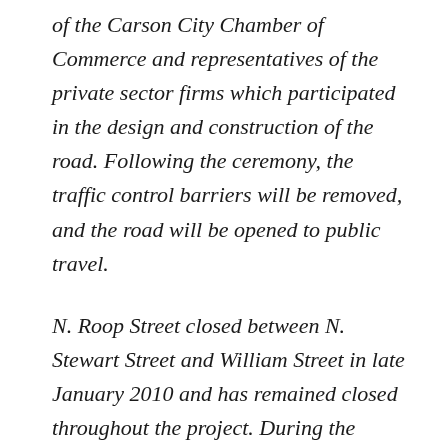of the Carson City Chamber of Commerce and representatives of the private sector firms which participated in the design and construction of the road. Following the ceremony, the traffic control barriers will be removed, and the road will be opened to public travel.
N. Roop Street closed between N. Stewart Street and William Street in late January 2010 and has remained closed throughout the project. During the summer of 2010, the road was also closed between William Street and Robinson Street. Upon completion of the